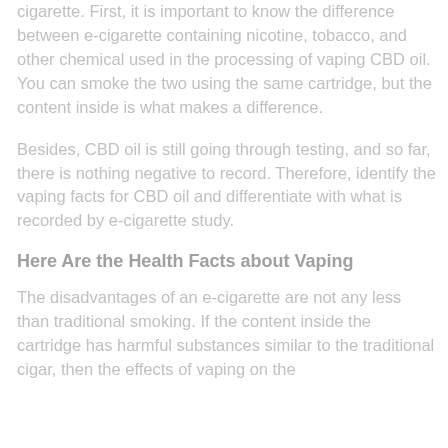cigarette. First, it is important to know the difference between e-cigarette containing nicotine, tobacco, and other chemical used in the processing of vaping CBD oil. You can smoke the two using the same cartridge, but the content inside is what makes a difference.
Besides, CBD oil is still going through testing, and so far, there is nothing negative to record. Therefore, identify the vaping facts for CBD oil and differentiate with what is recorded by e-cigarette study.
Here Are the Health Facts about Vaping
The disadvantages of an e-cigarette are not any less than traditional smoking. If the content inside the cartridge has harmful substances similar to the traditional cigar, then the effects of vaping on the